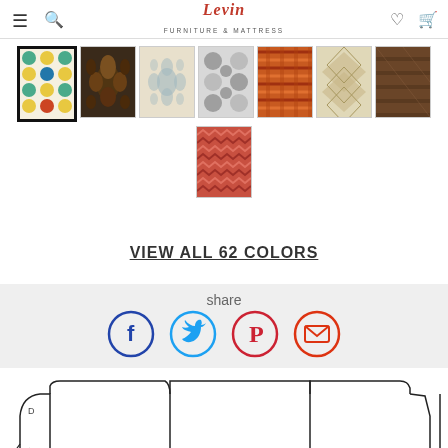Levin Furniture & Mattress
[Figure (photo): Row of fabric swatch thumbnails showing various patterns: polka dots (selected), dark floral, damask, grey circles, orange ikat, beige geometric, brown pattern, and one additional row with a red/orange zigzag pattern]
VIEW ALL 62 COLORS
share
[Figure (infographic): Social sharing icons: Facebook (blue circle with f), Twitter (blue circle with bird), Pinterest (red circle with P), Email (red circle with envelope)]
[Figure (illustration): Line drawing outline of a three-seat sofa/couch viewed from a slight angle]